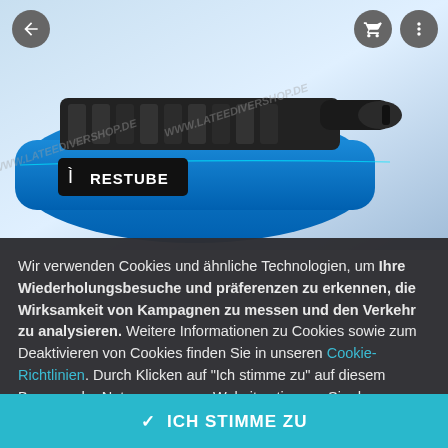[Figure (photo): Product photo of a blue Restube inflatable safety buoy/pouch with black straps and zipper pull, with watermark text www.lateedivershop.de overlaid diagonally]
Wir verwenden Cookies und ähnliche Technologien, um Ihre Wiederholungsbesuche und präferenzen zu erkennen, die Wirksamkeit von Kampagnen zu messen und den Verkehr zu analysieren. Weitere Informationen zu Cookies sowie zum Deaktivieren von Cookies finden Sie in unseren Cookie-Richtlinien. Durch Klicken auf "Ich stimme zu" auf diesem Banner oder Nutzung unserer Website stimmen Sie der Verwendung von Cookies zu, sofern Sie diese nicht deaktiviert haben.
✓ ICH STIMME ZU